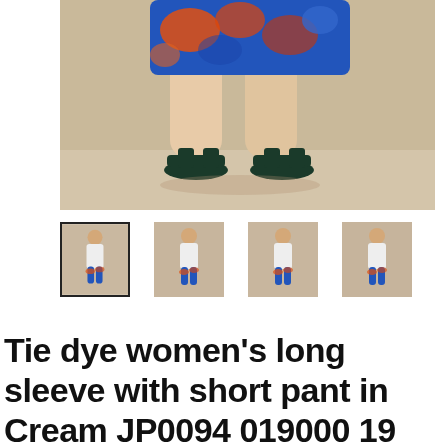[Figure (photo): Lower body of a person wearing colorful blue/orange/red tie-dye patterned shorts and black sandals, standing against a neutral beige background. The image is cropped at the waist.]
[Figure (photo): Four thumbnail images of a full-body fashion model wearing a white long-sleeve top and blue/orange patterned shorts. The first thumbnail is selected (highlighted with a border).]
Tie dye women's long sleeve with short pant in Cream JP0094 019000 19